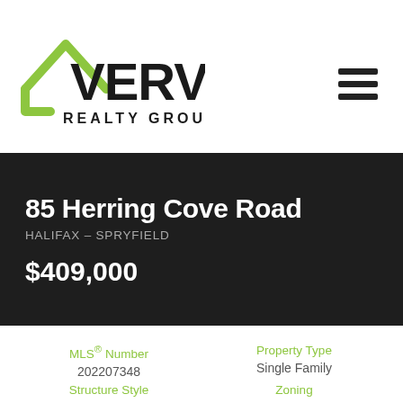[Figure (logo): Verve Realty Group logo with green house icon and bold VERVE wordmark above REALTY GROUP text]
85 Herring Cove Road
HALIFAX – SPRYFIELD
$409,000
MLS® Number
202207348
Property Type
Single Family
Structure Style
Zoning